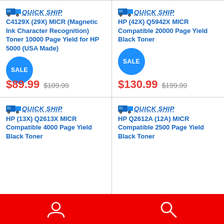[Figure (illustration): Quick Ship truck icon with text top-left product 1]
C4129X (29X) MICR (Magnetic Ink Character Recognition) Toner 10000 Page Yield for HP 5000 (USA Made)
[Figure (illustration): SALE badge circle blue]
$89.99  $109.99
[Figure (illustration): Quick Ship truck icon with text top-right product 2]
HP (42X) Q5942X MICR Compatible 20000 Page Yield Black Toner
[Figure (illustration): SALE badge circle blue]
$130.99  $199.99
[Figure (illustration): Quick Ship truck icon with text bottom-left product 3]
HP (13X) Q2613X MICR Compatible 4000 Page Yield Black Toner
[Figure (illustration): Quick Ship truck icon with text bottom-right product 4]
HP Q2612A (12A) MICR Compatible 2500 Page Yield Black Toner
[Figure (illustration): Red footer bar with person icon and search icon]